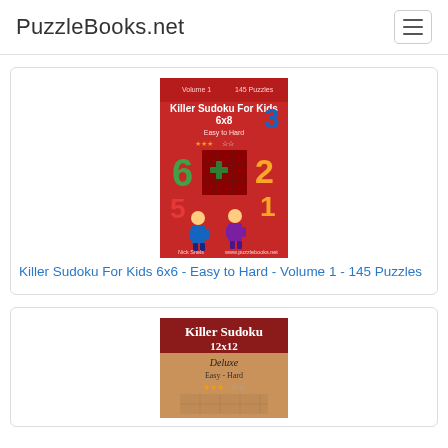PuzzleBooks.net
[Figure (illustration): Book cover for Killer Sudoku For Kids 6x6 - Easy to Hard - Volume 1 - 145 Puzzles. Red background with cartoon kids and large colorful numbers.]
Killer Sudoku For Kids 6x6 - Easy to Hard - Volume 1 - 145 Puzzles
[Figure (illustration): Book cover for Killer Sudoku 12x12 Deluxe - Easy to Hard. Red and tan/brown background.]